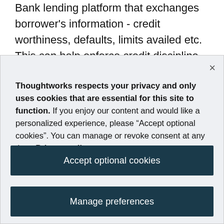Bank lending platform that exchanges borrower's information - credit worthiness, defaults, limits availed etc. This can help enforce credit discipline and reduce NPAs.
Thoughtworks respects your privacy and only uses cookies that are essential for this site to function. If you enjoy our content and would like a personalized experience, please “Accept optional cookies”. You can manage or revoke consent at any time. Privacy policy
Accept optional cookies
Manage preferences